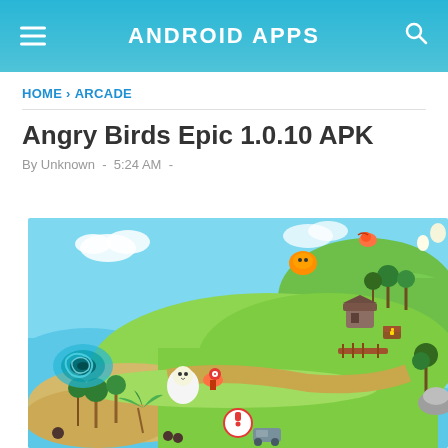ANDROID APPS
HOME › ARCADE
Angry Birds Epic 1.0.10 APK
By Unknown  -  5:24 AM  -
[Figure (screenshot): Game world map screenshot from Angry Birds Epic showing a colorful island landscape with yellow-green terrain, sandy beaches, blue ocean/sky, trees, treasure chests, buildings, and various game elements including a red exclamation mark icon and a blue whirlpool vortex on the left side.]